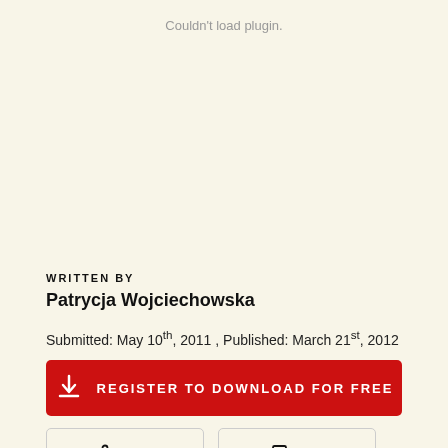Couldn't load plugin.
WRITTEN BY
Patrycja Wojciechowska
Submitted: May 10th, 2011 , Published: March 21st, 2012
REGISTER TO DOWNLOAD FOR FREE
Share
Cite